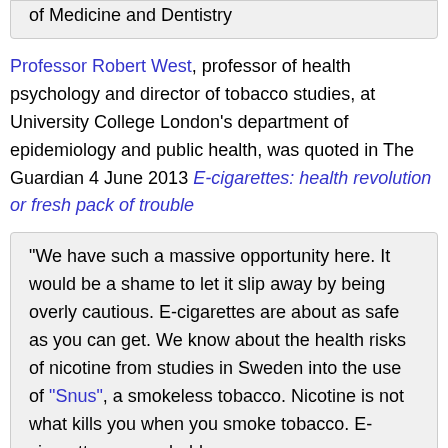of Medicine and Dentistry
Professor Robert West, professor of health psychology and director of tobacco studies, at University College London’s department of epidemiology and public health, was quoted in The Guardian 4 June 2013 E-cigarettes: health revolution or fresh pack of trouble
“We have such a massive opportunity here. It would be a shame to let it slip away by being overly cautious. E-cigarettes are about as safe as you can get. We know about the health risks of nicotine from studies in Sweden into the use of “Snus”, a smokeless tobacco. Nicotine is not what kills you when you smoke tobacco. E-cigarettes are probably